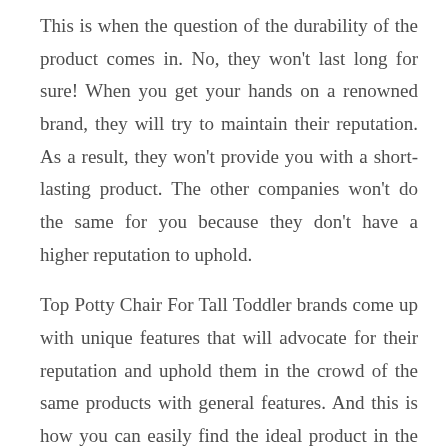This is when the question of the durability of the product comes in. No, they won't last long for sure! When you get your hands on a renowned brand, they will try to maintain their reputation. As a result, they won't provide you with a short-lasting product. The other companies won't do the same for you because they don't have a higher reputation to uphold.
Top Potty Chair For Tall Toddler brands come up with unique features that will advocate for their reputation and uphold them in the crowd of the same products with general features. And this is how you can easily find the ideal product in the list we have created!